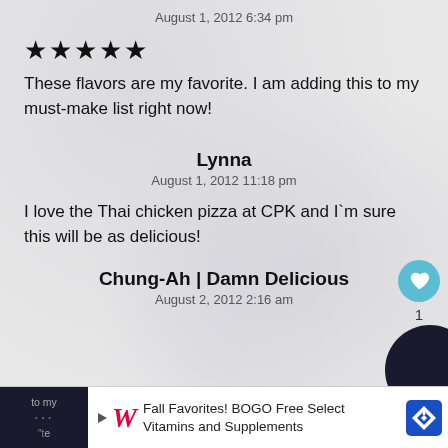August 1, 2012 6:34 pm
★★★★★
These flavors are my favorite. I am adding this to my must-make list right now!
Lynna
August 1, 2012 11:18 pm
I love the Thai chicken pizza at CPK and I'm sure this will be as delicious!
Chung-Ah | Damn Delicious
August 2, 2012 2:16 am
Fall Favorites! BOGO Free Select Vitamins and Supplements